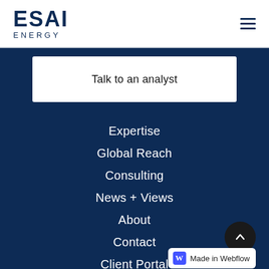ESAI ENERGY
Talk to an analyst
Expertise
Global Reach
Consulting
News + Views
About
Contact
Client Portal